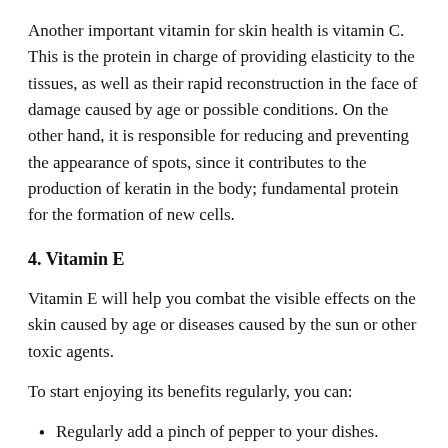Another important vitamin for skin health is vitamin C. This is the protein in charge of providing elasticity to the tissues, as well as their rapid reconstruction in the face of damage caused by age or possible conditions. On the other hand, it is responsible for reducing and preventing the appearance of spots, since it contributes to the production of keratin in the body; fundamental protein for the formation of new cells.
4. Vitamin E
Vitamin E will help you combat the visible effects on the skin caused by age or diseases caused by the sun or other toxic agents.
To start enjoying its benefits regularly, you can:
Regularly add a pinch of pepper to your dishes.
Prepare dressings in vegetable oils such as olive